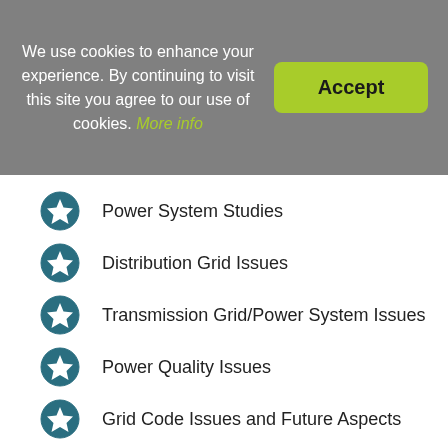We use cookies to enhance your experience. By continuing to visit this site you agree to our use of cookies. More info
Power System Studies
Distribution Grid Issues
Transmission Grid/Power System Issues
Power Quality Issues
Grid Code Issues and Future Aspects
Wind Power Modelling Issues
Power System Balancing Issues
Ancillary Services
Forecasting